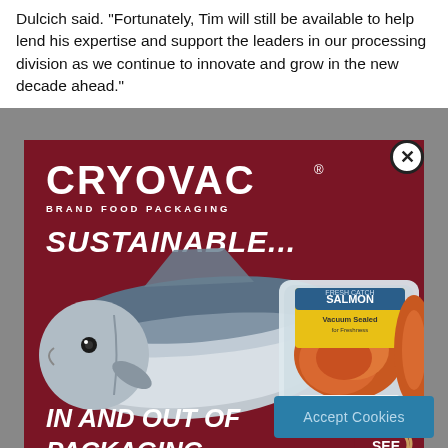Dulcich said. “Fortunately, Tim will still be available to help lend his expertise and support the leaders in our processing division as we continue to innovate and grow in the new decade ahead.”
[Figure (photo): Cryovac brand food packaging advertisement on dark red background. Shows a large salmon fish next to a packaged salmon product in a clear tray with label reading 'SALMON / Vacuum Sealed for Freshness'. Ad text reads 'SUSTAINABLE...' and 'IN AND OUT OF PACKAGING'. SEE logo in bottom right corner. Close (X) button in top right corner.]
Accept Cookies